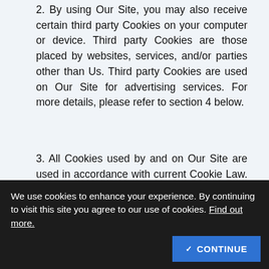2. By using Our Site, you may also receive certain third party Cookies on your computer or device. Third party Cookies are those placed by websites, services, and/or parties other than Us. Third party Cookies are used on Our Site for advertising services. For more details, please refer to section 4 below.
3. All Cookies used by and on Our Site are used in accordance with current Cookie Law. We may use some or all of the following types of Cookie:
a. Strictly Necessary Cookies
b. Analytics Cookies
c. Targeting Cookies
d. Third Party Cookies
We use cookies to enhance your experience. By continuing to visit this site you agree to our use of cookies. Find out more.
What Cookies Does Our Site Use?